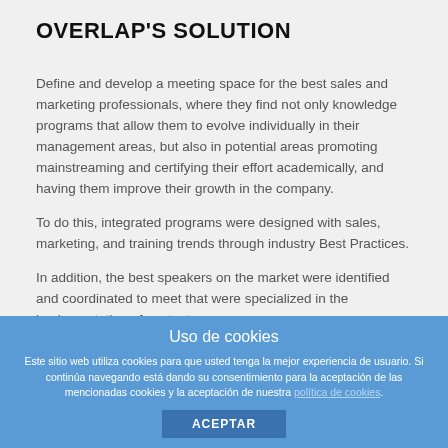OVERLAP'S SOLUTION
Define and develop a meeting space for the best sales and marketing professionals, where they find not only knowledge programs that allow them to evolve individually in their management areas, but also in potential areas promoting mainstreaming and certifying their effort academically, and having them improve their growth in the company.
To do this, integrated programs were designed with sales, marketing, and training trends through industry Best Practices.
In addition, the best speakers on the market were identified and coordinated to meet that were specialized in the implementation of contents.
Uso de cookies

Este sitio web utiliza cookies para que usted tenga la mejor experiencia de usuario. Si continúa navegando está dando su consentimiento para la aceptación de las mencionadas cookies y la aceptación de nuestra política de cookies.

ACEPTAR